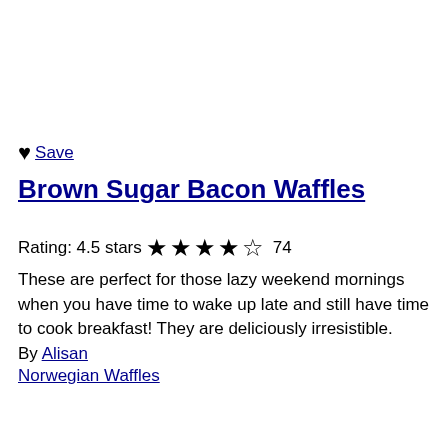♥ Save
Brown Sugar Bacon Waffles
Rating: 4.5 stars ★★★★☆ 74
These are perfect for those lazy weekend mornings when you have time to wake up late and still have time to cook breakfast! They are deliciously irresistible.
By Alisan
Norwegian Waffles